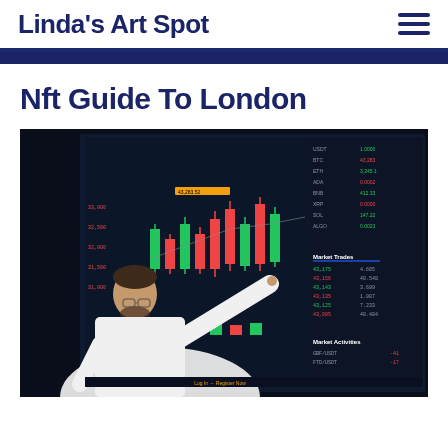Linda's Art Spot
Nft Guide To London
[Figure (photo): Man in white shirt pointing at a large display screen showing cryptocurrency trading charts with red and green candlestick patterns, market data tables, and trading interface]